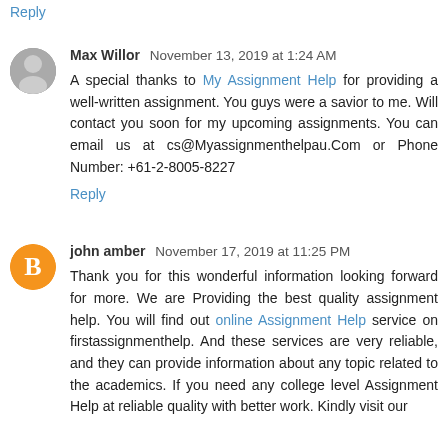Reply
Max Willor  November 13, 2019 at 1:24 AM
A special thanks to My Assignment Help for providing a well-written assignment. You guys were a savior to me. Will contact you soon for my upcoming assignments. You can email us at cs@Myassignmenthelpau.Com or Phone Number: +61-2-8005-8227
Reply
john amber  November 17, 2019 at 11:25 PM
Thank you for this wonderful information looking forward for more. We are Providing the best quality assignment help. You will find out online Assignment Help service on firstassignmenthelp. And these services are very reliable, and they can provide information about any topic related to the academics. If you need any college level Assignment Help at reliable quality with better work. Kindly visit our